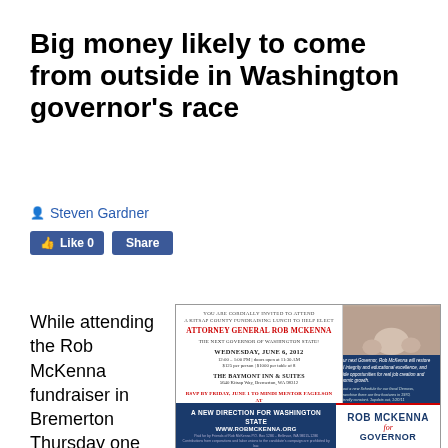Big money likely to come from outside in Washington governor's race
Steven Gardner
[Figure (screenshot): Facebook Like and Share buttons]
While attending the Rob McKenna fundraiser in Bremerton Thursday one of my
[Figure (photo): Rob McKenna fundraiser flyer for Kitsap County Fundraising Lunch, Wednesday June 6 2012, 12:00-1:00 PM, The Baymont Inn & Suites, Bremerton WA. With family photo and campaign branding.]